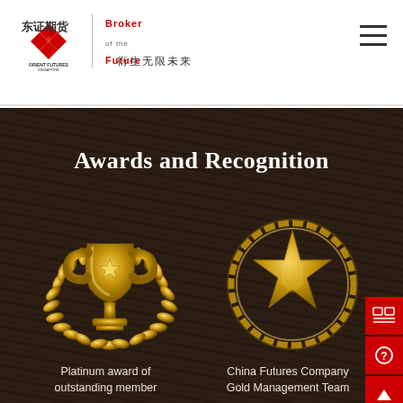[Figure (logo): Orient Futures Singapore logo with red geometric diamond shape, Chinese characters 东证期货, and 'Broker of the Future' tagline in red. Chinese tagline: 衍生无限未来]
[Figure (infographic): Awards and Recognition section on dark wood-grain background. Left: gold trophy with laurel wreath award icon. Right: gold star with rope/chain circle award icon. Two award captions below icons.]
Awards and Recognition
Platinum award of outstanding member
China Futures Company Gold Management Team